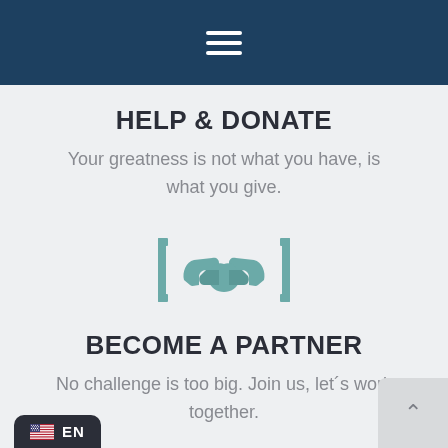≡ (hamburger menu)
HELP & DONATE
Your greatness is not what you have, is what you give.
[Figure (illustration): Handshake icon with decorative brackets on each side, rendered in teal/muted green color]
BECOME A PARTNER
No challenge is too big. Join us, let´s work together.